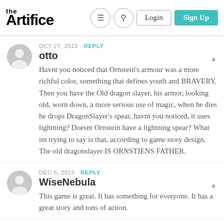The Artifice — Login | Sign Up
OCT 27, 2015 REPLY
otto
Havnt you noticed that Ornstein's armour was a more richful color, something that defines youth and BRAVERY. Then you have the Old dragon slayer, his armor, looking old, worn down, a more serious use of magic, when he dies he drops DragonSlayer's spear, havnt you noticed, it uses lightning? Doesnt Ornstein have a lightning spear? What im trying to say is that, according to game story design, The old dragonslayer IS ORNSTIENS FATHER.
DEC 6, 2015 REPLY
WiseNebula
This game is great. It has something for everyone. It has a great story and tons of action.
MAY 31, 2017 REPLY